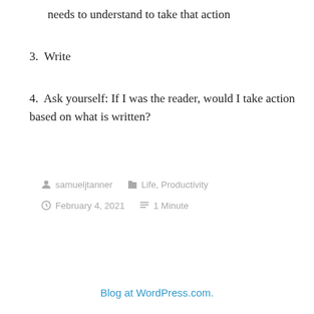needs to understand to take that action
3. Write
4. Ask yourself: If I was the reader, would I take action based on what is written?
samueljtanner   Life, Productivity   February 4, 2021   1 Minute
Blog at WordPress.com.